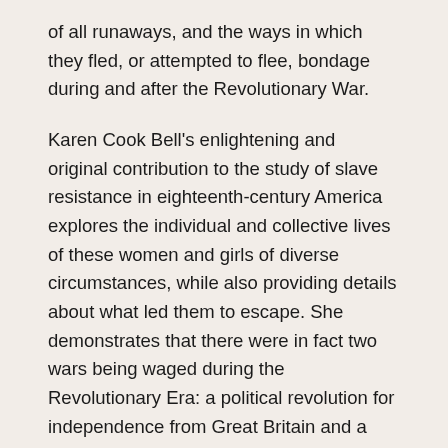of all runaways, and the ways in which they fled, or attempted to flee, bondage during and after the Revolutionary War.
Karen Cook Bell's enlightening and original contribution to the study of slave resistance in eighteenth-century America explores the individual and collective lives of these women and girls of diverse circumstances, while also providing details about what led them to escape. She demonstrates that there were in fact two wars being waged during the Revolutionary Era: a political revolution for independence from Great Britain and a social revolution for emancipation and equality in which Black women played an active role. Running from Bondage broadens and complicates how we study and teach this momentous event, one that emphasizes the chances taken by these 'Black